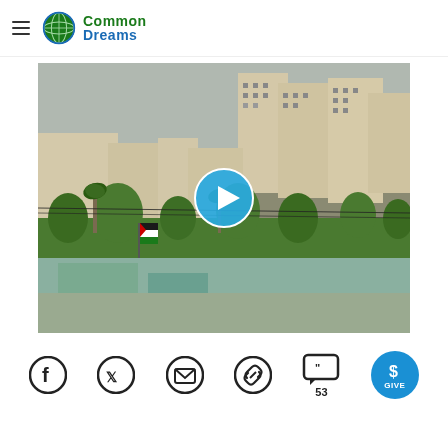Common Dreams
[Figure (photo): Aerial/rooftop view of Gaza city with dense urban buildings, palm trees, a Palestinian flag visible, and a video play button overlay (blue circle with white triangle) in the center.]
[Figure (infographic): Social sharing toolbar with icons: Facebook, Twitter, Email, Copy Link, Comments (53), and a blue circular GIVE button.]